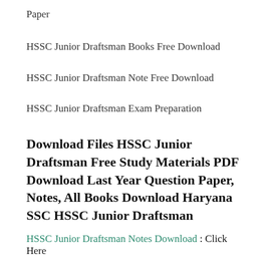Paper
HSSC Junior Draftsman Books Free Download
HSSC Junior Draftsman Note Free Download
HSSC Junior Draftsman Exam Preparation
Download Files HSSC Junior Draftsman Free Study Materials PDF Download Last Year Question Paper, Notes, All Books Download Haryana SSC HSSC Junior Draftsman
HSSC Junior Draftsman Notes Download : Click Here